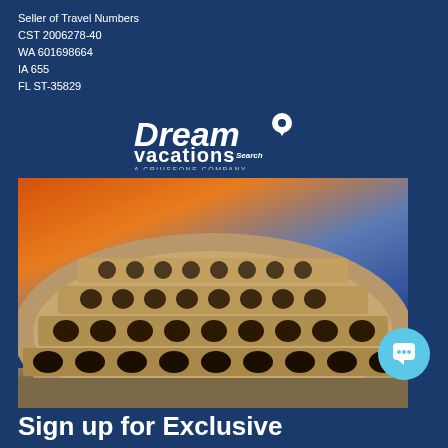Seller of Travel Numbers
CST 2006278-40
WA 601698664
IA 655
FL ST-35829
[Figure (logo): Dream Vacations logo with location pin icon and 'A CruiseOne Company' tagline]
[Figure (photo): Photo of the Roman Colosseum at sunset with dramatic orange and blue sky]
Sign up for Exclusive